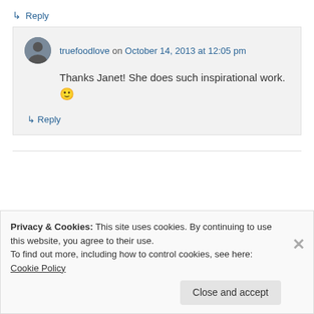↳ Reply
truefoodlove on October 14, 2013 at 12:05 pm
Thanks Janet! She does such inspirational work. 🙂
↳ Reply
Privacy & Cookies: This site uses cookies. By continuing to use this website, you agree to their use. To find out more, including how to control cookies, see here: Cookie Policy
Close and accept